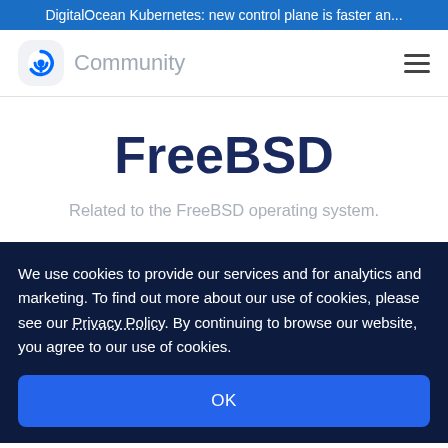DigitalOcean Kubernetes: new control plane is faster an...
[Figure (logo): DigitalOcean Community logo with circular arrow icon and 'Community' text]
FreeBSD
Related to the FreeBSD operating system.
We use cookies to provide our services and for analytics and marketing. To find out more about our use of cookies, please see our Privacy Policy. By continuing to browse our website, you agree to our use of cookies.
OK